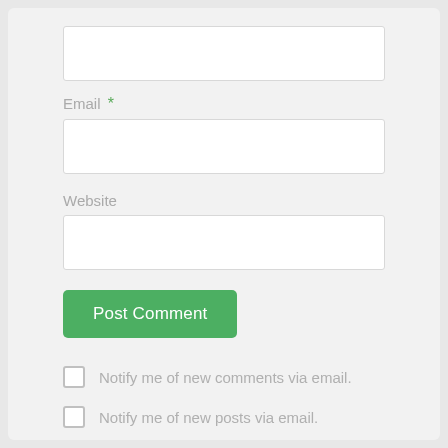[Figure (screenshot): Web comment form screenshot showing email field label with required asterisk, input boxes for Email and Website, a green Post Comment button, and two unchecked checkboxes for email notification options]
Email *
Website
Post Comment
Notify me of new comments via email.
Notify me of new posts via email.